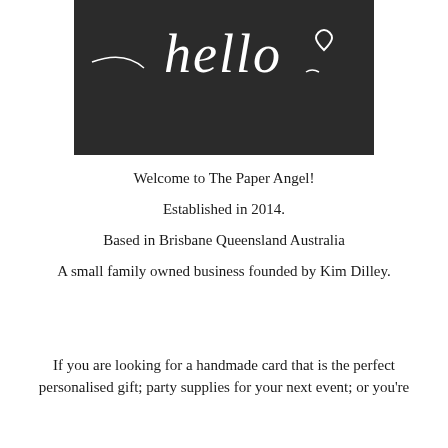[Figure (illustration): Black rectangular banner with white cursive 'hello' text and a small heart outline in the upper right corner]
Welcome to The Paper Angel!

Established in 2014.

Based in Brisbane Queensland Australia

A small family owned business founded by Kim Dilley.
If you are looking for a handmade card that is the perfect personalised gift; party supplies for your next event; or you're